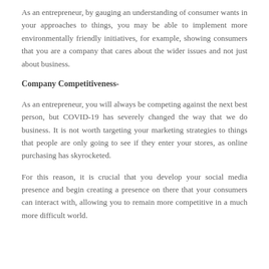As an entrepreneur, by gauging an understanding of consumer wants in your approaches to things, you may be able to implement more environmentally friendly initiatives, for example, showing consumers that you are a company that cares about the wider issues and not just about business.
Company Competitiveness-
As an entrepreneur, you will always be competing against the next best person, but COVID-19 has severely changed the way that we do business. It is not worth targeting your marketing strategies to things that people are only going to see if they enter your stores, as online purchasing has skyrocketed.
For this reason, it is crucial that you develop your social media presence and begin creating a presence on there that your consumers can interact with, allowing you to remain more competitive in a much more difficult world.